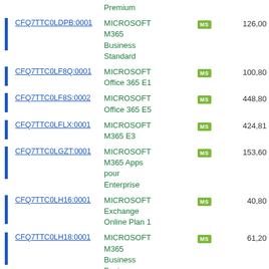|  | ID | Product Name | Badge | Price |
| --- | --- | --- | --- | --- |
|  |  | Premium |  |  |
|  | CFQ7TTC0LDPB:0001 | MICROSOFT M365 Business Standard | MS | 126,00 |
|  | CFQ7TTC0LF8Q:0001 | MICROSOFT Office 365 E1 | MS | 100,80 |
|  | CFQ7TTC0LF8S:0002 | MICROSOFT Office 365 E5 | MS | 448,80 |
|  | CFQ7TTC0LFLX:0001 | MICROSOFT M365 E3 | MS | 424,81 |
|  | CFQ7TTC0LGZT:0001 | MICROSOFT M365 Apps pour Enterprise | MS | 153,60 |
|  | CFQ7TTC0LH16:0001 | MICROSOFT Exchange Online Plan 1 | MS | 40,80 |
|  | CFQ7TTC0LH18:0001 | MICROSOFT M365 Business Basic | MS | 61,20 |